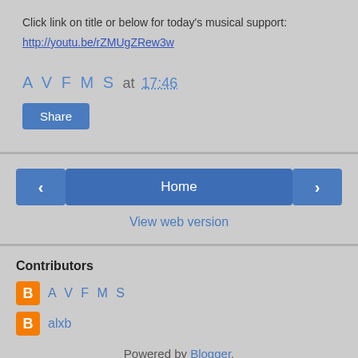Click link on title or below for today's musical support:
http://youtu.be/rZMUgZRew3w
A V F M S at 17:46
Share
< Home >
View web version
Contributors
A V F M S
alxb
Powered by Blogger.